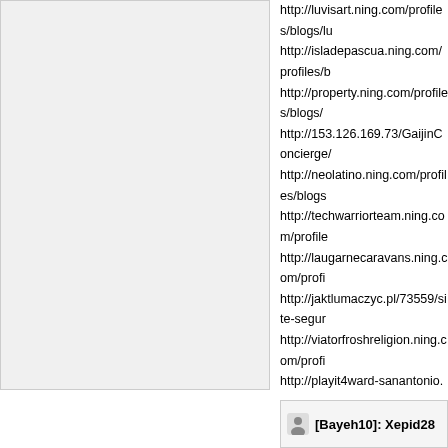http://luvisart.ning.com/profiles/blogs/lu http://isladepascua.ning.com/profiles/b http://property.ning.com/profiles/blogs/ http://153.126.169.73/GaijinConcierge/ http://neolatino.ning.com/profiles/blogs http://techwarriorteam.ning.com/profile http://laugarnecaravans.ning.com/profi http://jaktlumaczyc.pl/73559/site-segur http://viatorfroshreligion.ning.com/profi http://playit4ward-sanantonio.ning.com http://www.q-voice.tv/old/redirect/test/q micronase-gen%26%23233 http://recampus.ning.com/profiles/blogs http://thecorner.ning.com/profiles/blogs http://crossroadshob.ning.com/profiles/ http://jawbite.ning.com/profiles/blogs/c http://writeskills.ning.com/profiles/blogs http://weebattledotcom.ning.com/profile http://facebookhitlist.com/profiles/blogs http://vocal-buzz.ning.com/profiles/blog http://bobford.ning.com/profiles/blogs/c http://neikasworld.ning.com/profiles/blo http://tnfdjs.ning.com/profiles/blogs/tad http://crossroadshob.ning.com/profiles/
[Bayeh10]: Xepid28